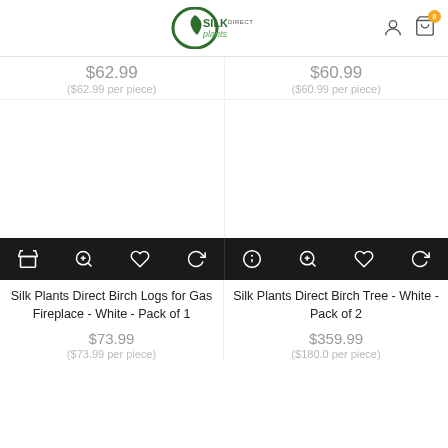Silk Plants Direct – website header with logo and cart icon
$62.99 ($62.99 per piece)
$60.99 ($60.99 per piece)
[Figure (screenshot): Black action bar with cart, zoom, heart, and refresh icons for left product]
[Figure (screenshot): Black action bar with info, zoom, heart, and refresh icons for right product]
Silk Plants Direct Birch Logs for Gas Fireplace - White - Pack of 1
$73.99 ($73.99 per piece)
Silk Plants Direct Birch Tree - White - Pack of 2
$359.99 ($180.0 per piece)